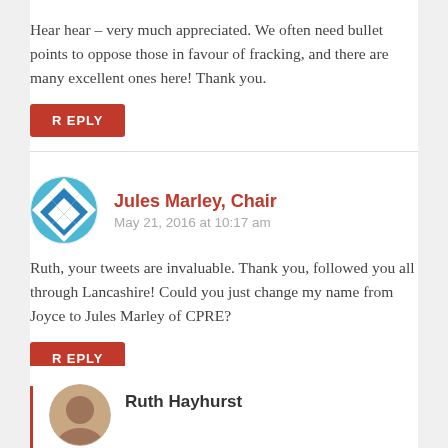Hear hear – very much appreciated. We often need bullet points to oppose those in favour of fracking, and there are many excellent ones here! Thank you.
REPLY
Jules Marley, Chair
May 21, 2016 at 10:17 am
Ruth, your tweets are invaluable. Thank you, followed you all through Lancashire! Could you just change my name from Joyce to Jules Marley of CPRE?
REPLY
Ruth Hayhurst